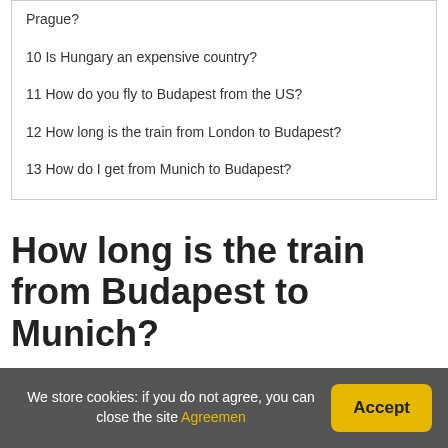Prague?
10 Is Hungary an expensive country?
11 How do you fly to Budapest from the US?
12 How long is the train from London to Budapest?
13 How do I get from Munich to Budapest?
How long is the train from Budapest to Munich?
How long does the train from Budapest to Munich take? The average journey time by
We store cookies: if you do not agree, you can close the site Agreemen